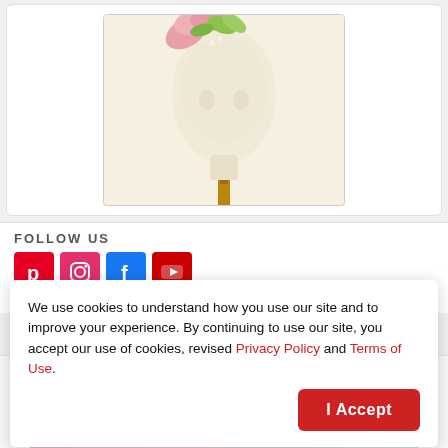[Figure (photo): Product photo of a mannequin head (cream/beige) on a gold stand with pink and green floral decoration at top, displayed in a white product card]
FOLLOW US
[Figure (other): Row of four social media icons: Pinterest (red), Instagram (pink/red), Facebook (blue), YouTube (red)]
We use cookies to understand how you use our site and to improve your experience. By continuing to use our site, you accept our use of cookies, revised Privacy Policy and Terms of Use.
I Accept
© 2022  About | Contact | Help | Privac…
[Figure (illustration): Origami Halos branded banner image at bottom with script text]